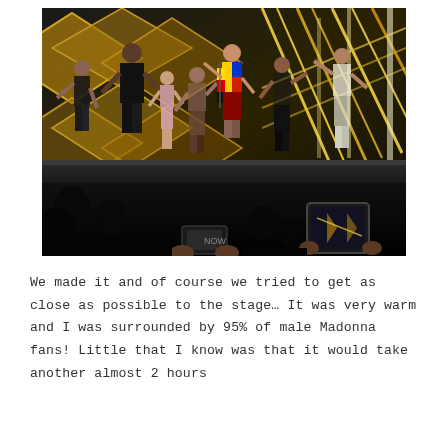[Figure (photo): Concert photo taken from the audience showing performers on a stage with dramatic gold diamond-pattern lighting backdrop. Multiple dancers/performers visible including a central figure in colorful costume holding a flag. Audience members in foreground with phones/cameras raised. A smartphone screen visible in lower right showing the stage.]
We made it and of course we tried to get as close as possible to the stage… It was very warm and I was surrounded by 95% of male Madonna fans! Little that I know was that it would take another almost 2 hours